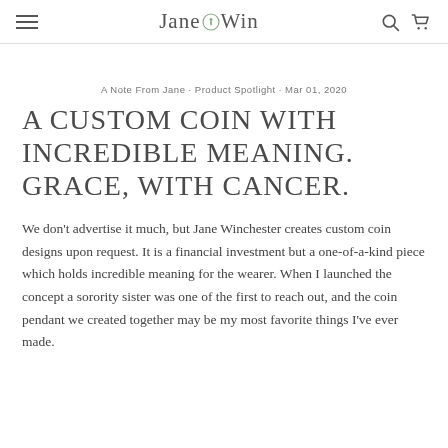Jane Win
A Note From Jane · Product Spotlight · Mar 01, 2020
A CUSTOM COIN WITH INCREDIBLE MEANING. GRACE, WITH CANCER.
We don't advertise it much, but Jane Winchester creates custom coin designs upon request. It is a financial investment but a one-of-a-kind piece which holds incredible meaning for the wearer. When I launched the concept a sorority sister was one of the first to reach out, and the coin pendant we created together may be my most favorite things I've ever made.